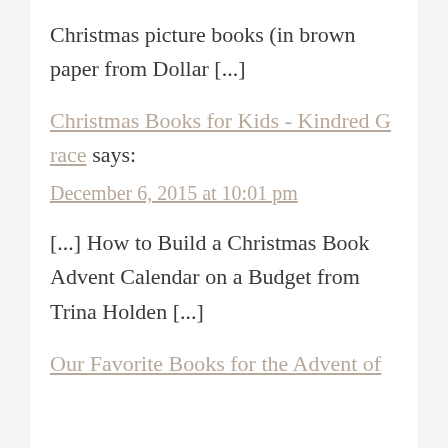Christmas picture books (in brown paper from Dollar [...]
Christmas Books for Kids - Kindred Grace says:
December 6, 2015 at 10:01 pm
[...] How to Build a Christmas Book Advent Calendar on a Budget from Trina Holden [...]
Our Favorite Books for the Advent of